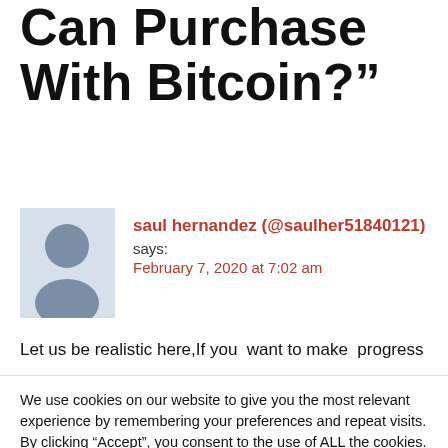Can Purchase With Bitcoin?”
saul hernandez (@saulher51840121) says: February 7, 2020 at 7:02 am
Let us be realistic here,If you  want to make  progress
We use cookies on our website to give you the most relevant experience by remembering your preferences and repeat visits. By clicking “Accept”, you consent to the use of ALL the cookies.
Do not sell my personal information.
Cookie Settings   Accept